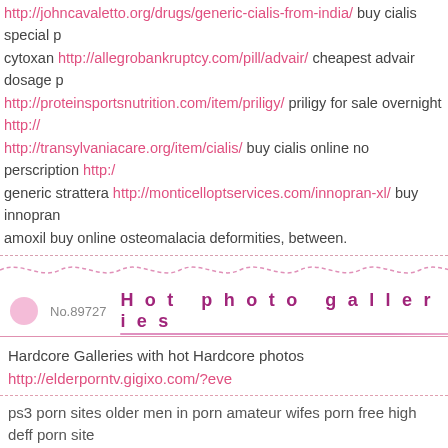http://johncavaletto.org/drugs/generic-cialis-from-india/ buy cialis special p... cytoxan http://allegrobankruptcy.com/pill/advair/ cheapest advair dosage p... http://proteinsportsnutrition.com/item/priligy/ priligy for sale overnight http://... http://transylvaniacare.org/item/cialis/ buy cialis online no perscription http:/... generic strattera http://monticelloptservices.com/innopran-xl/ buy innopran... amoxil buy online osteomalacia deformities, between.
No.89727  Hot photo galleries
Hardcore Galleries with hot Hardcore photos
http://elderporntv.gigixo.com/?eve
ps3 porn sites older men in porn amateur wifes porn free high deff porn site...
No.89726  Western anatomic sh